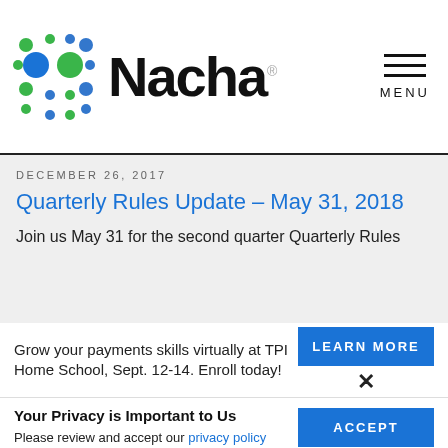[Figure (logo): Nacha logo with colorful dot grid pattern and bold 'Nacha' wordmark]
MENU
DECEMBER 26, 2017
Quarterly Rules Update – May 31, 2018
Join us May 31 for the second quarter Quarterly Rules
Grow your payments skills virtually at TPI Home School, Sept. 12-14. Enroll today!
LEARN MORE
×
Your Privacy is Important to Us
Please review and accept our privacy policy regarding use of cookies and related technologies.
ACCEPT
×